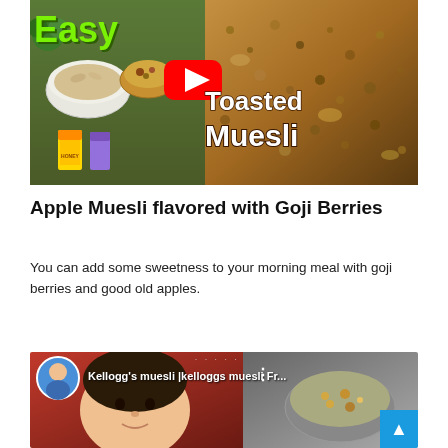[Figure (screenshot): YouTube video thumbnail for 'Toasted Muesli' recipe showing ingredients on left and toasted muesli on right with YouTube play button and 'Toasted Muesli' text overlay]
Apple Muesli flavored with Goji Berries
You can add some sweetness to your morning meal with goji berries and good old apples.
[Figure (screenshot): YouTube video thumbnail showing 'Kellogg's muesli |kelloggs muesli Fr...' with a woman's face on left and bowl of muesli on right]